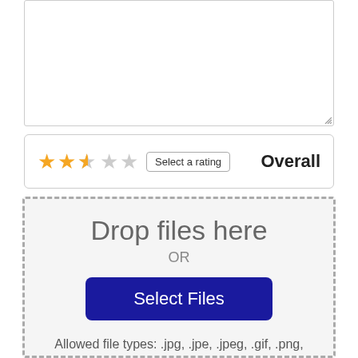[Figure (screenshot): Empty textarea input box with resize handle in bottom-right corner]
[Figure (screenshot): Star rating widget showing 2.5 stars filled (orange), 2.5 gray stars, a 'Select a rating' button, and 'Overall' label]
[Figure (screenshot): File drop zone with dashed border containing 'Drop files here', 'OR', 'Select Files' button, allowed file types text, and upload limit]
Allowed file types: .jpg, .jpe, .jpeg, .gif, .png, .bmp, .ico
(You can upload 2 files)